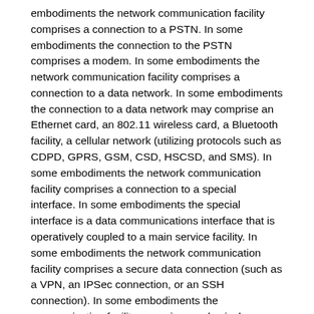embodiments the network communication facility comprises a connection to a PSTN. In some embodiments the connection to the PSTN comprises a modem. In some embodiments the network communication facility comprises a connection to a data network. In some embodiments the connection to a data network may comprise an Ethernet card, an 802.11 wireless card, a Bluetooth facility, a cellular network (utilizing protocols such as CDPD, GPRS, GSM, CSD, HSCSD, and SMS). In some embodiments the network communication facility comprises a connection to a special interface. In some embodiments the special interface is a data communications interface that is operatively coupled to a main service facility. In some embodiments the network communication facility comprises a secure data connection (such as a VPN, an IPSec connection, or an SSH connection). In some embodiments the communication facility comprises a physical component. In some embodiments the physical component is a category 5e cable or other network component. In some embodiments the communication facility comprises an application-oriented component. In some embodiments the application-oriented component is a Web server. In